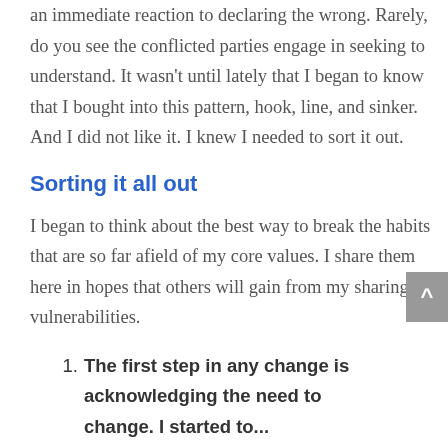an immediate reaction to declaring the wrong. Rarely, do you see the conflicted parties engage in seeking to understand. It wasn't until lately that I began to know that I bought into this pattern, hook, line, and sinker. And I did not like it. I knew I needed to sort it out.
Sorting it all out
I began to think about the best way to break the habits that are so far afield of my core values. I share them here in hopes that others will gain from my sharing my vulnerabilities.
The first step in any change is acknowledging the need to change. I started to...